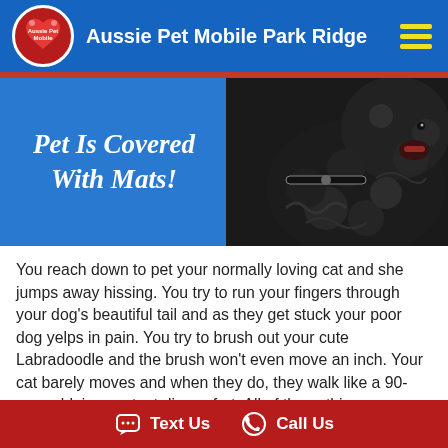Aussie Pet Mobile Park Ridge
Pet is Covered with Mats!
[Figure (photo): Close-up photo of a black dog with long curly matted fur, wearing a collar, mouth open]
You reach down to pet your normally loving cat and she jumps away hissing.  You try to run your fingers through your dog's beautiful tail and as they get stuck your poor dog yelps in pain.  You try to brush out your cute Labradoodle and the brush won't even move an inch.  Your cat barely moves and when they do, they walk like a 90-year-old, in constant discomfort.  All of these things are signs of a badly matted pet.  Mats are not something that will go away. They will get worse and worse until they are dealt with properly.  Luckily, you've found Aussie Pet Mobile and our caring and professional groomers can help you and your pets get back on the right track.
Text Us   Call Us